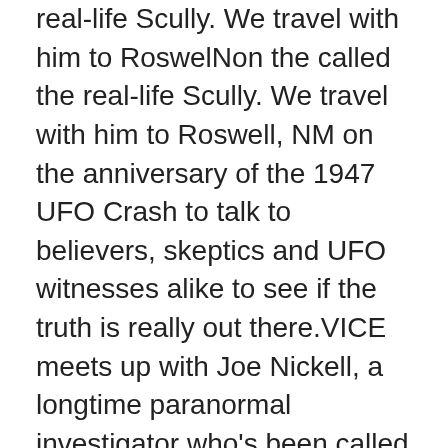real-life Scully. We travel with him to RoswelNon the called the real-life Scully. We travel with him to Roswell, NM on the anniversary of the 1947 UFO Crash to talk to believers, skeptics and UFO witnesses alike to see if the truth is really out there.VICE meets up with Joe Nickell, a longtime paranormal investigator who's been called the real-life Scully. We travel with him to Roswell, NM on the anniversary of the 1947 UFO Crash to talk to believers, skeptics and UFO witnesses alike to see if the truth is really out there.[/vc_column_text][vc_separator type="transparent" up="25" down="0"][/vc_column][/vc_row][vc_row row_type="row" use_row_as_full_screen_section="no" type="full_width" angled_section="no" text_align="left" background_image_as_pattern="without_pattern" css_animation=""][vc_column][vc_column_text]VICE meets up with Joe Nickell, a longtime paranormal investigator who's been called the real-life Scully. We